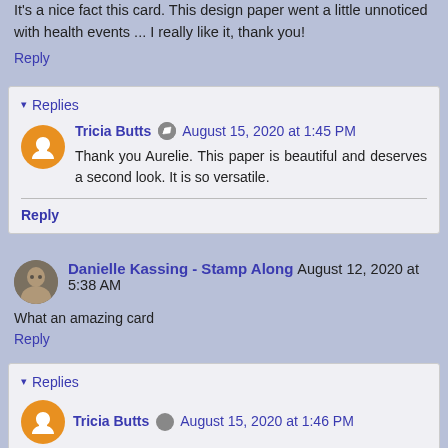It's a nice fact this card. This design paper went a little unnoticed with health events ... I really like it, thank you!
Reply
Replies
Tricia Butts  August 15, 2020 at 1:45 PM
Thank you Aurelie. This paper is beautiful and deserves a second look. It is so versatile.
Reply
Danielle Kassing - Stamp Along  August 12, 2020 at 5:38 AM
What an amazing card
Reply
Replies
Tricia Butts  August 15, 2020 at 1:46 PM